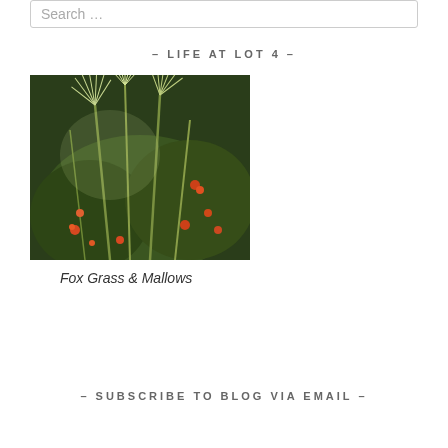Search …
– LIFE AT LOT 4 –
[Figure (photo): Outdoor garden photo showing Fox Grass and Mallows plants with feathery grass plumes and small red/orange flowers against a dark green leafy background]
Fox Grass & Mallows
– SUBSCRIBE TO BLOG VIA EMAIL –